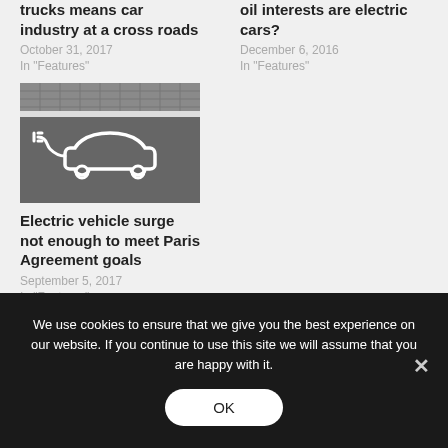trucks means car industry at a cross roads
October 31, 2017
In "Features"
oil interests are electric cars?
December 6, 2016
In "Features"
[Figure (photo): An electric vehicle parking spot marking painted on asphalt, showing a car icon with a charging plug symbol, with cobblestone pavement visible in the background.]
Electric vehicle surge not enough to meet Paris Agreement goals
September 5, 2017
In "Features"
We use cookies to ensure that we give you the best experience on our website. If you continue to use this site we will assume that you are happy with it.